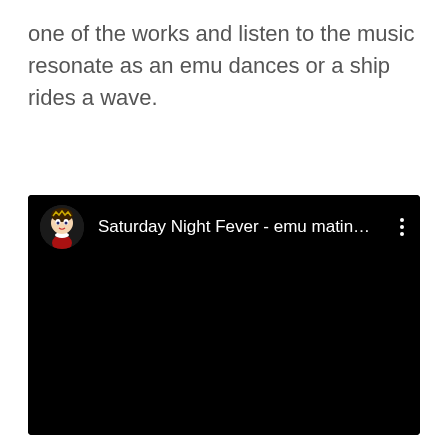one of the works and listen to the music resonate as an emu dances or a ship rides a wave.
[Figure (screenshot): A dark/black video player embed showing a YouTube-style video card with a doll avatar thumbnail on the left and the title 'Saturday Night Fever - emu matin...' in white text, with a vertical three-dot menu icon on the right. The main video area is entirely black.]